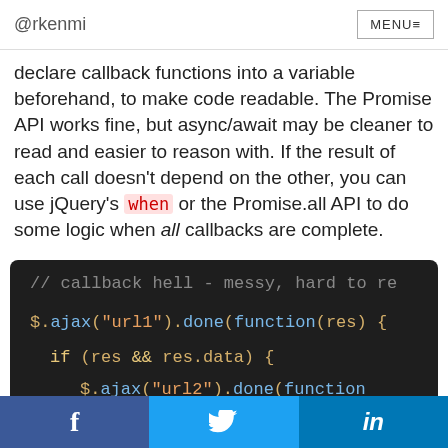@rkenmi  MENU≡
declare callback functions into a variable beforehand, to make code readable. The Promise API works fine, but async/await may be cleaner to read and easier to reason with. If the result of each call doesn't depend on the other, you can use jQuery's when or the Promise.all API to do some logic when all callbacks are complete.
[Figure (screenshot): Dark-themed code editor screenshot showing JavaScript callback hell example: $.ajax("url1").done(function(res) { if (res && res.data) { $.ajax("url2").done(function ... if (res2 && res2.data) ... with comment // callback hell - messy, hard to re...]
f  [twitter bird]  in